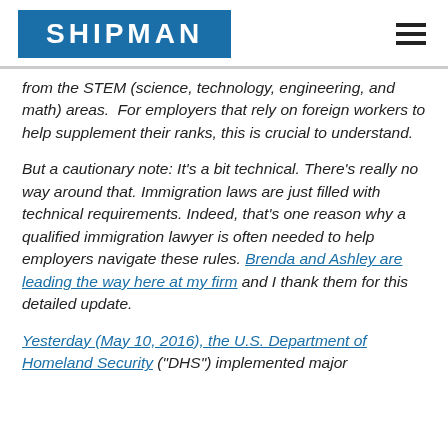[Figure (logo): Shipman logo - white text on blue background with hamburger menu icon]
from the STEM (science, technology, engineering, and math) areas.  For employers that rely on foreign workers to help supplement their ranks, this is crucial to understand.
But a cautionary note: It's a bit technical. There's really no way around that. Immigration laws are just filled with technical requirements. Indeed, that's one reason why a qualified immigration lawyer is often needed to help employers navigate these rules. Brenda and Ashley are leading the way here at my firm and I thank them for this detailed update.
Yesterday (May 10, 2016), the U.S. Department of Homeland Security ("DHS") implemented major